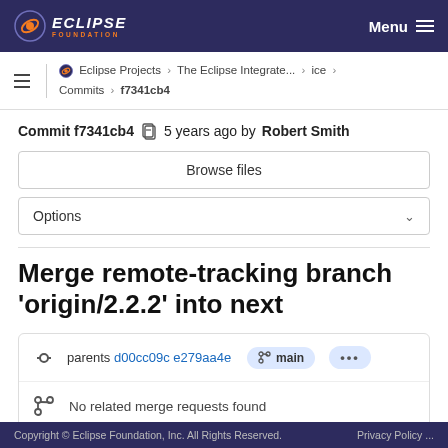ECLIPSE FOUNDATION — Menu
Eclipse Projects › The Eclipse Integrate... › ice › Commits › f7341cb4
Commit f7341cb4  5 years ago by Robert Smith
Browse files
Options
Merge remote-tracking branch 'origin/2.2.2' into next
parents d00cc09c e279aa4e  main  ...
No related merge requests found
Copyright © Eclipse Foundation, Inc. All Rights Reserved.    Privacy Policy ...